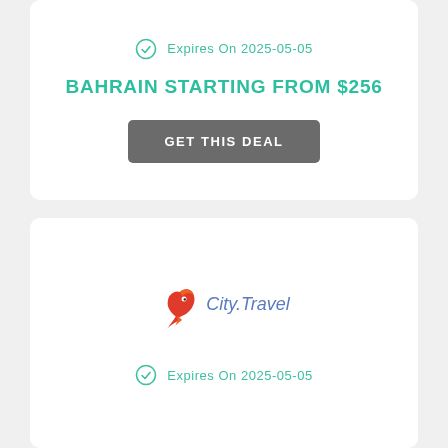Expires On 2025-05-05
BAHRAIN STARTING FROM $256
GET THIS DEAL
[Figure (logo): City.Travel logo with a red/orange bird icon and blue italic text 'City.Travel']
Expires On 2025-05-05